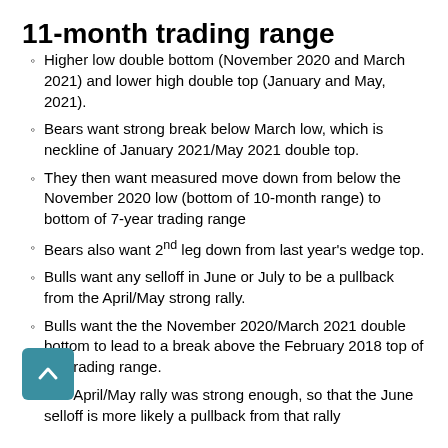11-month trading range
Higher low double bottom (November 2020 and March 2021) and lower high double top (January and May, 2021).
Bears want strong break below March low, which is neckline of January 2021/May 2021 double top.
They then want measured move down from below the November 2020 low (bottom of 10-month range) to bottom of 7-year trading range
Bears also want 2nd leg down from last year's wedge top.
Bulls want any selloff in June or July to be a pullback from the April/May strong rally.
Bulls want the the November 2020/March 2021 double bottom to lead to a break above the February 2018 top of the trading range.
The April/May rally was strong enough, so that the June selloff is more likely a pullback from that rally